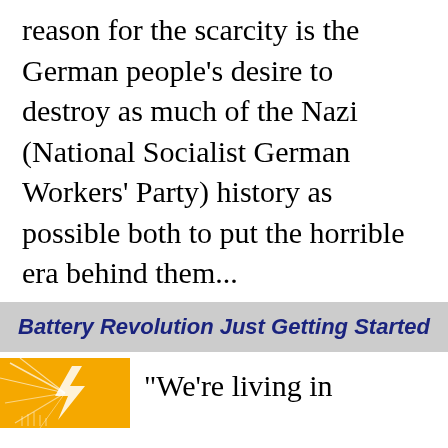reason for the scarcity is the German people's desire to destroy as much of the Nazi (National Socialist German Workers' Party) history as possible both to put the horrible era behind them...
Battery Revolution Just Getting Started
[Figure (illustration): Yellow/gold starburst or lightning bolt graphic on orange-yellow background]
"We're living in